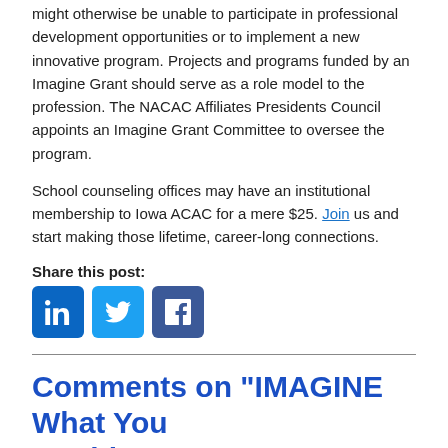might otherwise be unable to participate in professional development opportunities or to implement a new innovative program. Projects and programs funded by an Imagine Grant should serve as a role model to the profession. The NACAC Affiliates Presidents Council appoints an Imagine Grant Committee to oversee the program.
School counseling offices may have an institutional membership to Iowa ACAC for a mere $25. Join us and start making those lifetime, career-long connections.
Share this post:
[Figure (other): Social sharing buttons for LinkedIn, Twitter, and Facebook]
Comments on "IMAGINE What You Could Do"
There are no comments on this post.